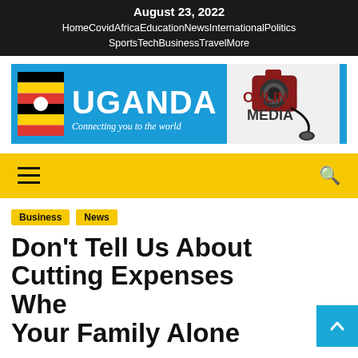August 23, 2022 | Home Covid Africa Education News International Politics Sports Tech Business Travel More
[Figure (logo): Uganda Online Media logo — blue background with Uganda flag, white UGANDA text, camera/microphone icon, and ONLINE MEDIA text]
Navigation menu bar with hamburger icon and search icon
Business | News
Don't Tell Us About Cutting Expenses When Your Family Alone